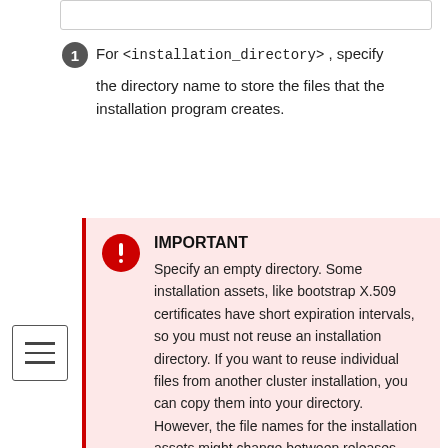For <installation_directory>, specify the directory name to store the files that the installation program creates.
IMPORTANT
Specify an empty directory. Some installation assets, like bootstrap X.509 certificates have short expiration intervals, so you must not reuse an installation directory. If you want to reuse individual files from another cluster installation, you can copy them into your directory. However, the file names for the installation assets might change between releases. Use caution when copying installation files from an earlier OKD version.